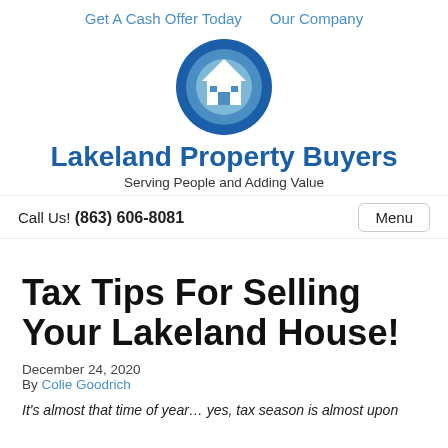Get A Cash Offer Today   Our Company
[Figure (logo): Lakeland Property Buyers circular logo with house icon in blue tones]
Lakeland Property Buyers
Serving People and Adding Value
Call Us! (863) 606-8081
Tax Tips For Selling Your Lakeland House!
December 24, 2020
By Colie Goodrich
It's almost that time of year… yes, tax season is almost upon